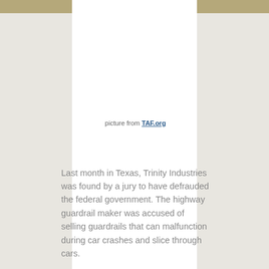picture from TAF.org
Last month in Texas, Trinity Industries was found by a jury to have defrauded the federal government. The highway guardrail maker was accused of selling guardrails that can malfunction during car crashes and slice through cars.